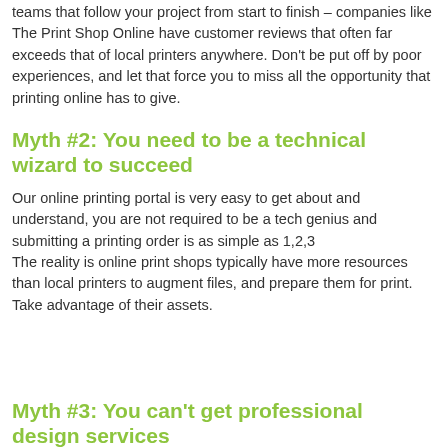teams that follow your project from start to finish – companies like The Print Shop Online have customer reviews that often far exceeds that of local printers anywhere. Don't be put off by poor experiences, and let that force you to miss all the opportunity that printing online has to give.
Myth #2: You need to be a technical wizard to succeed
Our online printing portal is very easy to get about and understand, you are not required to be a tech genius and submitting a printing order is as simple as 1,2,3 The reality is online print shops typically have more resources than local printers to augment files, and prepare them for print. Take advantage of their assets.
Myth #3: You can't get professional design services